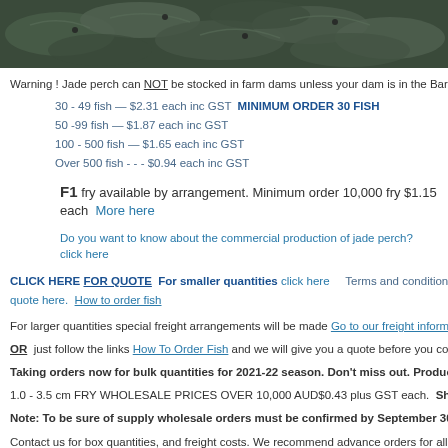[Figure (photo): Close-up photo of fish, dark silvery-green tones, showing multiple jade perch fish]
Warning ! Jade perch can NOT be stocked in farm dams unless your dam is in the Barcoo River Ba...
30 - 49  fish  —  $2.31 each  inc GST  MINIMUM ORDER 30 FISH
50  -99 fish  —  $1.87 each  inc GST
100 - 500 fish — $1.65 each  inc GST
Over 500 fish - - - $0.94 each  inc GST
F1 fry available by arrangement. Minimum order 10,000 fry $1.15 each  More here
Do you want to know about the commercial production of jade perch? click here
CLICK HERE FOR QUOTE  For smaller quantities click here     Terms and conditions.   How to orde... quote here.  How to order fish
For larger quantities special freight arrangements will be made  Go to our freight information page...
OR  just follow the links How To Order Fish and we will give you a quote before you commit to buy...
Taking orders now for bulk quantities for 2021-22 season. Don't miss out. Production is limited. T...
1.0 - 3.5 cm FRY WHOLESALE PRICES OVER 10,000 AUD$0.43 plus GST each.  Shipping from Decemb...
Note: To be sure of supply wholesale orders must be confirmed by September 30th.
Contact us for box quantities, and freight costs. We recommend advance orders for all quantities...